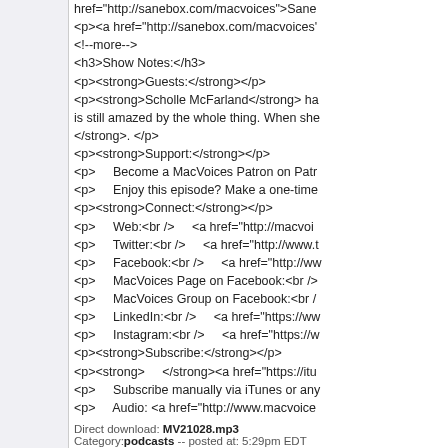href="http://sanebox.com/macvoices">Sane
<p><a href="http://sanebox.com/macvoices'
<!--more-->
<h3>Show Notes:</h3>
<p><strong>Guests:</strong></p>
<p><strong>Scholle McFarland</strong> ha is still amazed by the whole thing. When she </strong>. </p>
<p><strong>Support:</strong></p>
<p>     Become a MacVoices Patron on Patr
<p>     Enjoy this episode? Make a one-time
<p><strong>Connect:</strong></p>
<p>     Web:<br />     <a href="http://macvoi
<p>     Twitter:<br />     <a href="http://www.t
<p>     Facebook:<br />     <a href="http://ww
<p>     MacVoices Page on Facebook:<br />
<p>     MacVoices Group on Facebook:<br /
<p>     LinkedIn:<br />     <a href="https://ww
<p>     Instagram:<br />     <a href="https://w
<p><strong>Subscribe:</strong></p>
<p><strong>     </strong><a href="https://itu
<p>     Subscribe manually via iTunes or any
<p>     Audio: <a href="http://www.macvoice
Direct download: MV21028.mp3
Category: podcasts -- posted at: 5:29pm EDT
Wed, 10 February 2021
MacVoices #21028:
<p><strong>Scholle McFarland</strong> ha new features, and the expanded data source
<p>This edition of MacVoices is sponsored b href="http://sanebox.com/macvoices">Sane
<p><a href="http://sanebox.com/macvoices'
<!--more-->